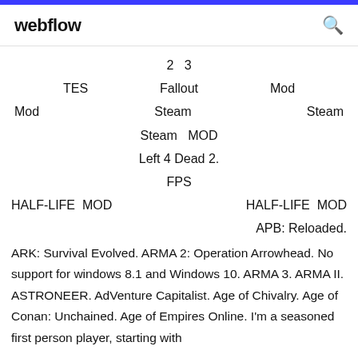webflow
2  3
TES   Fallout   Mod
Mod   Steam   Steam
Steam  MOD
Left 4 Dead 2.
FPS
HALF-LIFE  MOD                          HALF-LIFE  MOD                          APB: Reloaded.
ARK: Survival Evolved. ARMA 2: Operation Arrowhead. No support for windows 8.1 and Windows 10. ARMA 3. ARMA II. ASTRONEER. AdVenture Capitalist. Age of Chivalry. Age of Conan: Unchained. Age of Empires Online. I'm a seasoned first person player, starting with